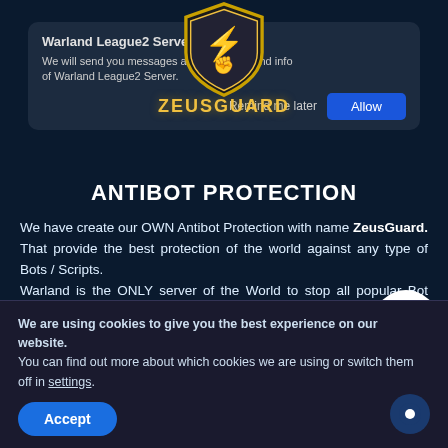[Figure (screenshot): Browser notification popup for Warland League2 Server asking to send messages about updates and info, with 'Remind me later' and 'Allow' buttons]
[Figure (logo): ZeusGuard logo: gold and black shield with lightning bolt fist, gold text ZEUSGUARD, subtitle ANTIBOT PROTECTION]
ANTIBOT PROTECTION
We have create our OWN Antibot Protection with name ZeusGuard. That provide the best protection of the world against any type of Bots / Scripts.
Warland is the ONLY server of the World to stop all popular Bot software like Adrenaline, Tower , L2Net, L2Robot and any
[Figure (logo): TopZone logo: blue square icon with document shape, text TOPZONE below]
We are using cookies to give you the best experience on our website.
You can find out more about which cookies we are using or switch them off in settings.
Accept